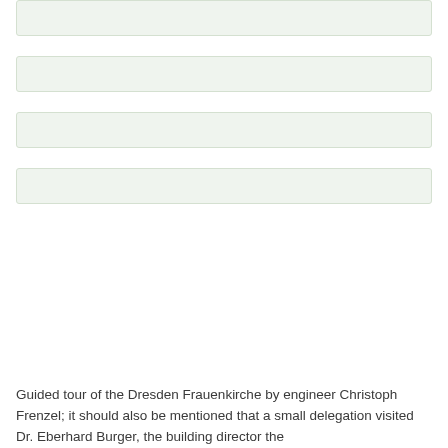[Figure (other): Light green/grey horizontal bar — form field or UI element row 1]
[Figure (other): Light green/grey horizontal bar — form field or UI element row 2]
[Figure (other): Light green/grey horizontal bar — form field or UI element row 3]
[Figure (other): Light green/grey horizontal bar — form field or UI element row 4]
Guided tour of the Dresden Frauenkirche by engineer Christoph Frenzel; it should also be mentioned that a small delegation visited Dr. Eberhard Burger, the building director the